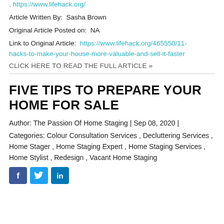, https://www.lifehack.org/
Article Written By:  Sasha Brown
Original Article Posted on:  NA
Link to Original Article:  https://www.lifehack.org/465550/11-hacks-to-make-your-house-more-valuable-and-sell-it-faster
CLICK HERE TO READ THE FULL ARTICLE »
FIVE TIPS TO PREPARE YOUR HOME FOR SALE
Author: The Passion Of Home Staging | Sep 08, 2020 |
Categories: Colour Consultation Services , Decluttering Services , Home Stager , Home Staging Expert , Home Staging Services , Home Stylist , Redesign , Vacant Home Staging
[Figure (other): Social media share buttons: Facebook, Twitter, LinkedIn]